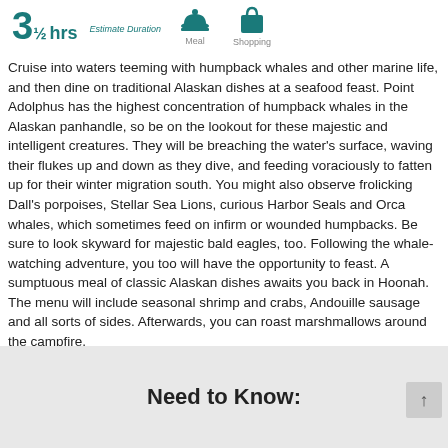[Figure (infographic): Duration indicator showing 3½ hrs Estimate Duration, with icons for Meal and Shopping]
Cruise into waters teeming with humpback whales and other marine life, and then dine on traditional Alaskan dishes at a seafood feast. Point Adolphus has the highest concentration of humpback whales in the Alaskan panhandle, so be on the lookout for these majestic and intelligent creatures. They will be breaching the water's surface, waving their flukes up and down as they dive, and feeding voraciously to fatten up for their winter migration south. You might also observe frolicking Dall's porpoises, Stellar Sea Lions, curious Harbor Seals and Orca whales, which sometimes feed on infirm or wounded humpbacks. Be sure to look skyward for majestic bald eagles, too. Following the whale-watching adventure, you too will have the opportunity to feast. A sumptuous meal of classic Alaskan dishes awaits you back in Hoonah. The menu will include seasonal shrimp and crabs, Andouille sausage and all sorts of sides. Afterwards, you can roast marshmallows around the campfire.
Need to Know: